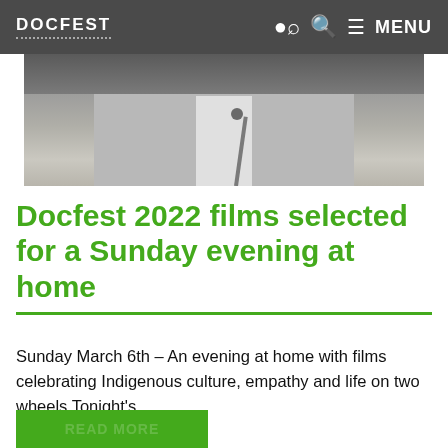DOCFEST   🔍 ≡ MENU
[Figure (photo): Close-up photo of a person wearing a grey suit with a white shirt and decorative bolo tie, speaking at a microphone. Only the torso and lower face/neck area are visible.]
Docfest 2022 films selected for a Sunday evening at home
Sunday March 6th - An evening at home with films celebrating Indigenous culture, empathy and life on two wheels Tonight's …